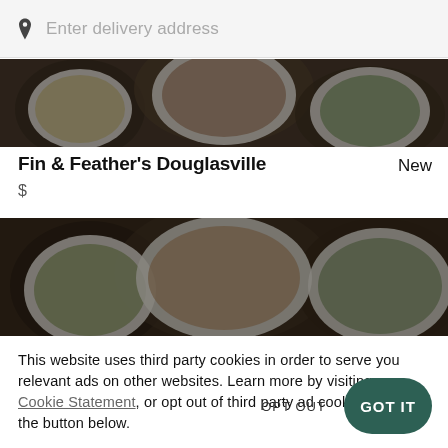Enter delivery address
[Figure (photo): Overhead view of food dishes on a dark background - top strip]
Fin & Feather's Douglasville
New
$
[Figure (photo): Overhead view of food dishes including plates with salads and noodles on dark background]
This website uses third party cookies in order to serve you relevant ads on other websites. Learn more by visiting our Cookie Statement, or opt out of third party ad cookies using the button below.
OPT OUT
GOT IT